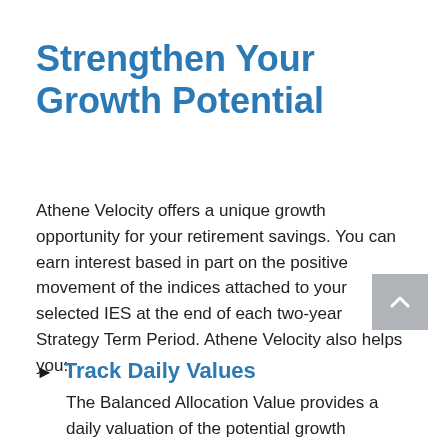Strengthen Your Growth Potential
Athene Velocity offers a unique growth opportunity for your retirement savings. You can earn interest based in part on the positive movement of the indices attached to your selected IES at the end of each two-year Strategy Term Period. Athene Velocity also helps you:
Track Daily Values
The Balanced Allocation Value provides a daily valuation of the potential growth